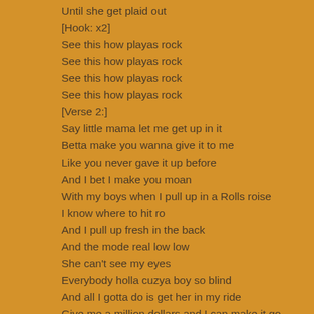Until she get plaid out
[Hook: x2]
See this how playas rock
See this how playas rock
See this how playas rock
See this how playas rock
[Verse 2:]
Say little mama let me get up in it
Betta make you wanna give it to me
Like you never gave it up before
And I bet I make you moan
With my boys when I pull up in a Rolls roise
I know where to hit ro
And I pull up fresh in the back
And the mode real low low
She can't see my eyes
Everybody holla cuzya boy so blind
And all I gotta do is get her in my ride
Give me a million dollars and I can make it go live